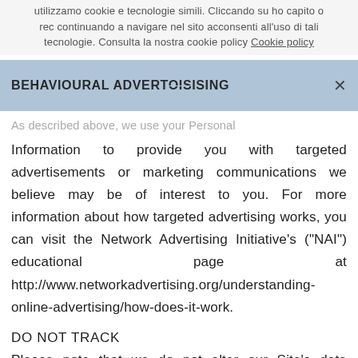utilizzamo cookie e tecnologie simili. Cliccando su ho capito o rec continuando a navigare nel sito acconsenti all'uso di tali tecnologie. Consulta la nostra cookie policy Cookie policy
BEHAVIOURAL ADVERTISING
As described above, we use your Personal Information to provide you with targeted advertisements or marketing communications we believe may be of interest to you. For more information about how targeted advertising works, you can visit the Network Advertising Initiative’s (“NAI”) educational page at http://www.networkadvertising.org/understanding-online-advertising/how-does-it-work.
DO NOT TRACK
Please note that we do not alter our Site’s data collection and use practices when we see a Do Not Track signal from your browser.